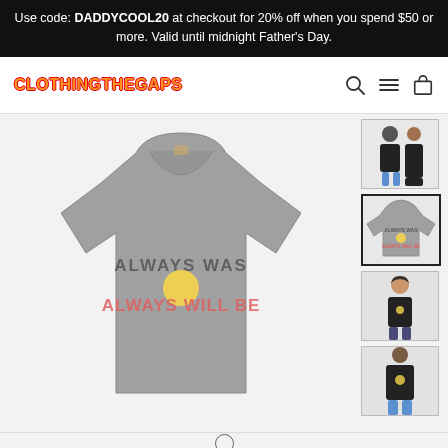Use code: DADDYCOOL20 at checkout for 20% off when you spend $50 or more. Valid until midnight Father's Day.
[Figure (logo): CLOTHINGTHEGAPS logo in orange with red outline]
[Figure (photo): Main product image: grey t-shirt with 'ALWAYS WAS ALWAYS WILL BE' text design in red, black and yellow Aboriginal flag colors]
[Figure (photo): Thumbnail 1: Two people wearing black t-shirts with the design]
[Figure (photo): Thumbnail 2: Grey t-shirt product shot (selected/active)]
[Figure (photo): Thumbnail 3: Female model wearing black t-shirt with design]
[Figure (photo): Thumbnail 4: Male model wearing black t-shirt with design, partial view]